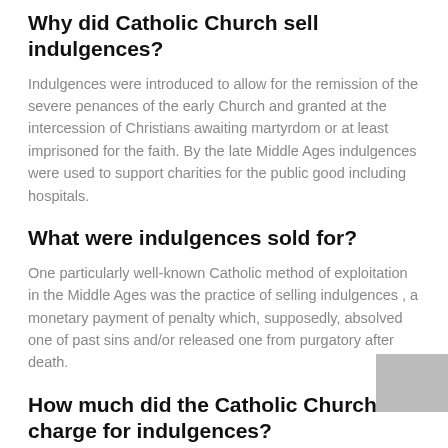Why did Catholic Church sell indulgences?
Indulgences were introduced to allow for the remission of the severe penances of the early Church and granted at the intercession of Christians awaiting martyrdom or at least imprisoned for the faith. By the late Middle Ages indulgences were used to support charities for the public good including hospitals.
What were indulgences sold for?
One particularly well-known Catholic method of exploitation in the Middle Ages was the practice of selling indulgences , a monetary payment of penalty which, supposedly, absolved one of past sins and/or released one from purgatory after death.
How much did the Catholic Church charge for indulgences?
According to this site, these are the typical cost of indulgences for people of various social standings: "Kings